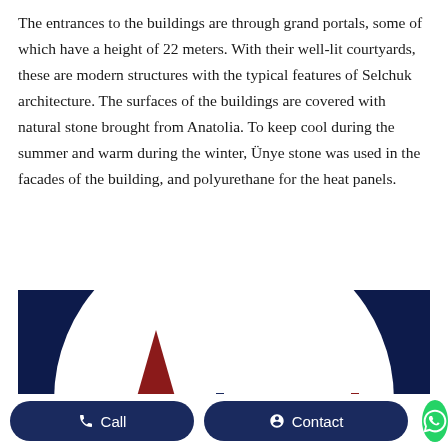The entrances to the buildings are through grand portals, some of which have a height of 22 meters. With their well-lit courtyards, these are modern structures with the typical features of Selchuk architecture. The surfaces of the buildings are covered with natural stone brought from Anatolia. To keep cool during the summer and warm during the winter, Ünye stone was used in the facades of the building, and polyurethane for the heat panels.
[Figure (illustration): Partial view of a building facade illustration showing a large white semicircular arch on a dark navy blue background, with a dark red triangular minaret/spire visible in the lower center portion.]
Call   Contact